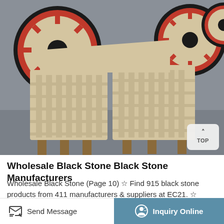[Figure (photo): Industrial jaw crusher machines with large red and black flywheels, cream/beige colored heavy machinery frames, photographed in a warehouse or outdoor industrial setting. A 'TOP' navigation button appears in the bottom right of the photo.]
Wholesale Black Stone Black Stone Manufacturers
Wholesale Black Stone (Page 10) ☆ Find 915 black stone products from 411 manufacturers & suppliers at EC21. ☆ Choose quality black stone manufacturers, suppliers & exporters now - EC21
Send Message
Inquiry Online